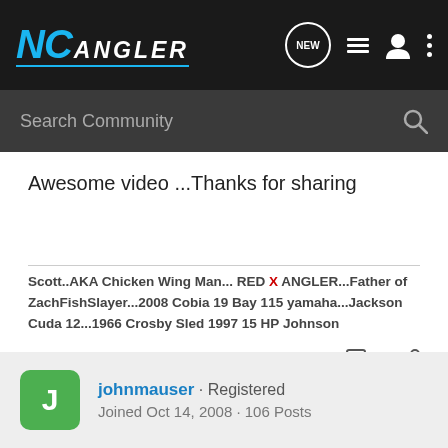NC ANGLER
Awesome video ...Thanks for sharing
Scott..AKA Chicken Wing Man... RED X ANGLER...Father of ZachFishSlayer...2008 Cobia 19 Bay 115 yamaha...Jackson Cuda 12...1966 Crosby Sled 1997 15 HP Johnson
johnmauser · Registered
Joined Oct 14, 2008 · 106 Posts